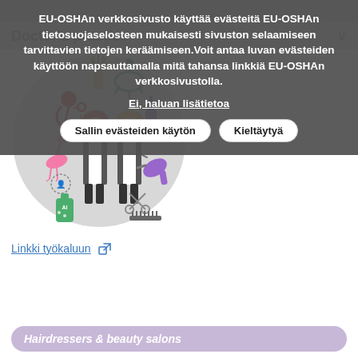EU-OSHAn verkkosivusto käyttää evästeitä EU-OSHAn tietosuojaselosteen mukaisesti sivuston selaamiseen tarvittavien tietojen keräämiseen.Voit antaa luvan evästeiden käyttöön napsauttamalla mitä tahansa linkkiä EU-OSHAn verkkosivustolla.
Ei, haluan lisätietoa
Sallin evästeiden käytön
Kieltäytyä
[Figure (illustration): Circular illustration showing hairdresser/beauty salon workers (a woman with red hair and a man with blond hair wearing aprons) surrounded by beauty tools: nail polish, hair dryer, scissors, comb, shampoo bottle, hair loss icon, flamingo, diffuser sticks, massage icon]
Linkki työkaluun
Hairdressers & beauty salons